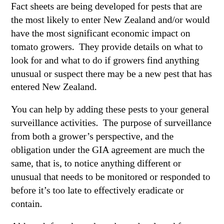Fact sheets are being developed for pests that are the most likely to enter New Zealand and/or would have the most significant economic impact on tomato growers.  They provide details on what to look for and what to do if growers find anything unusual or suspect there may be a new pest that has entered New Zealand.
You can help by adding these pests to your general surveillance activities.  The purpose of surveillance from both a grower's perspective, and the obligation under the GIA agreement are much the same, that is, to notice anything different or unusual that needs to be monitored or responded to before it's too late to effectively eradicate or contain.
Although fact sheets have been developed for some of the pests most likely to enter New Zealand, potential incursions are not limited to this group, so vigilance in identifying anything unusual is prudent during monitoring and surveillance